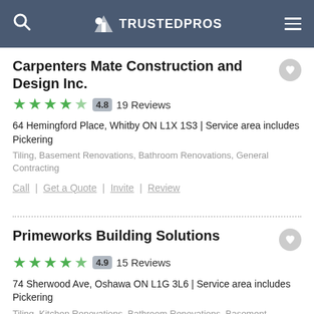TRUSTEDPROS
Carpenters Mate Construction and Design Inc.
4.8 — 19 Reviews
64 Hemingford Place, Whitby ON L1X 1S3 | Service area includes Pickering
Tiling, Basement Renovations, Bathroom Renovations, General Contracting
Call | Get a Quote | Invite | Review
Primeworks Building Solutions
4.9 — 15 Reviews
74 Sherwood Ave, Oshawa ON L1G 3L6 | Service area includes Pickering
Tiling, Kitchen Renovations, Bathroom Renovations, Basement Renovations